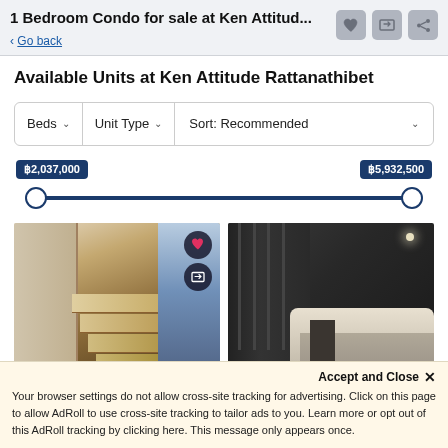1 Bedroom Condo for sale at Ken Attitud... < Go back
Available Units at Ken Attitude Rattanathibet
Beds | Unit Type | Sort: Recommended
฿2,037,000  ฿5,932,500
[Figure (photo): Interior photo showing staircase with warm lighting and dining area with city view window, FazWaz watermark]
[Figure (photo): Interior photo showing dark bedroom with modern furnishings]
Accept and Close ✕
Your browser settings do not allow cross-site tracking for advertising. Click on this page to allow AdRoll to use cross-site tracking to tailor ads to you. Learn more or opt out of this AdRoll tracking by clicking here. This message only appears once.